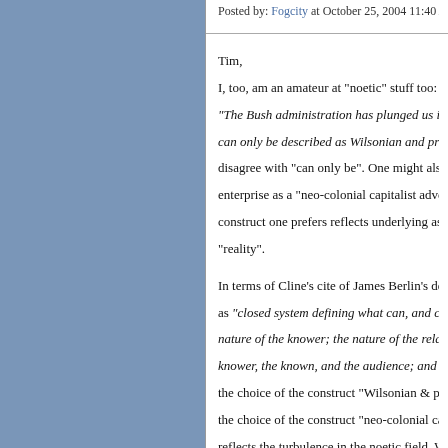Posted by: Fogcity at October 25, 2004 11:40 AM | Perm
Tim,
I, too, am an amateur at "noetic" stuff too: Re y
"The Bush administration has plunged us into a... can only be described as Wilsonian and progres... disagree with "can only be". One might also de... enterprise as a "neo-colonial capitalist adventur... construct one prefers reflects underlying assum... "reality".
In terms of Cline's cite of James Berlin's definit... as "closed system defining what can, and canno... nature of the knower; the nature of the relations... knower, the known, and the audience; and the n... the choice of the construct "Wilsonian & progre... the choice of the construct "neo-colonial capita... reflects the turbulence in the noetic field. What... gets to decide?